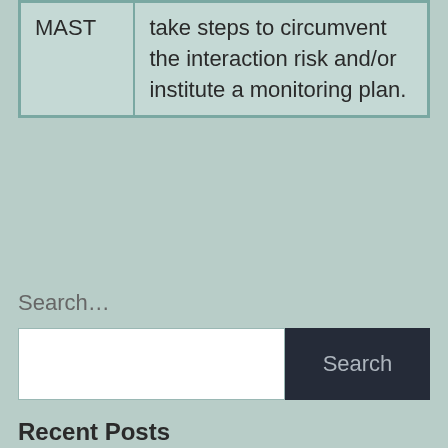| MAST | take steps to circumvent the interaction risk and/or institute a monitoring plan. |
Search…
Search
Recent Posts